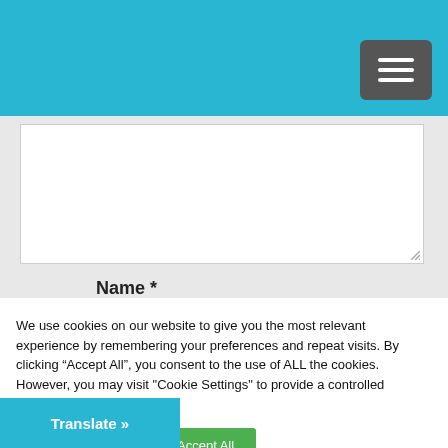[Figure (screenshot): Hamburger menu icon button (three horizontal lines) on a dark gray rounded square background, positioned in the top-right of a blue header bar]
[Figure (screenshot): Large white textarea input box with a resize handle in the bottom-right corner, on a light gray background]
Name *
We use cookies on our website to give you the most relevant experience by remembering your preferences and repeat visits. By clicking “Accept All”, you consent to the use of ALL the cookies. However, you may visit "Cookie Settings" to provide a controlled consent.
Cookie Settings
Accept All
Translate »